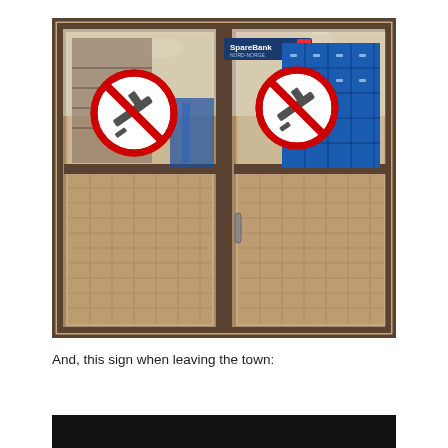[Figure (photo): A photograph of glass double doors with metal frames viewed from outside. Two red prohibition signs (no firearms/weapons) are stuck on each door panel. Through the glass, a tiled indoor lobby is visible with blue lockers on the right side, a staircase on the left, and a SpareBank 1 Nord-Norge sign above the door interior. The floor is reddish-brown tile.]
And, this sign when leaving the town:
[Figure (photo): A partially visible dark/black strip at the bottom of the page, the top of another photograph.]